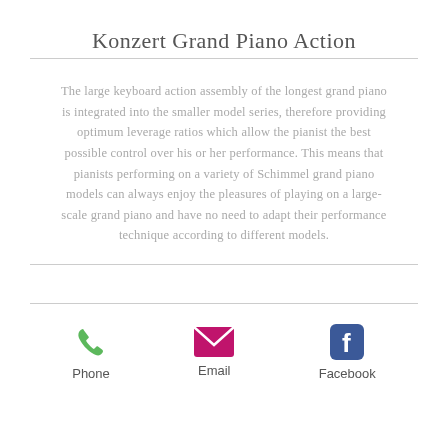Konzert Grand Piano Action
The large keyboard action assembly of the longest grand piano is integrated into the smaller model series, therefore providing optimum leverage ratios which allow the pianist the best possible control over his or her performance. This means that pianists performing on a variety of Schimmel grand piano models can always enjoy the pleasures of playing on a large-scale grand piano and have no need to adapt their performance technique according to different models.
[Figure (infographic): Three contact icons: a green phone icon labeled Phone, a magenta/pink email envelope icon labeled Email, and a blue Facebook icon labeled Facebook]
Phone  Email  Facebook